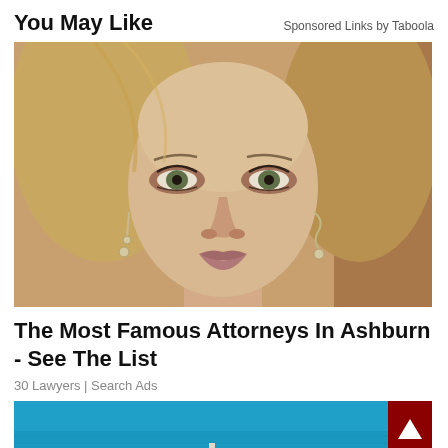You May Like
Sponsored Links by Taboola
[Figure (photo): Close-up portrait of a woman with straight blonde-brown hair, dramatic eye makeup, and dangling crystal earrings, looking directly at the camera with a neutral expression.]
The Most Famous Attorneys In Ashburn - See The List
30 Lawyers | Search Ads
[Figure (photo): Partial view of a scene with bright blue water/sky background; a small structure visible at bottom center.]